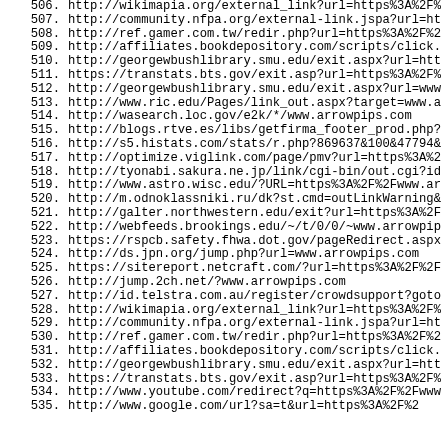506. http://wikimapia.org/external_link?url=https%3A%2F%
507. http://community.nfpa.org/external-link.jspa?url=ht
508. http://ref.gamer.com.tw/redir.php?url=https%3A%2F%2
509. http://affiliates.bookdepository.com/scripts/click.
510. http://georgewbushlibrary.smu.edu/exit.aspx?url=htt
511. https://transtats.bts.gov/exit.asp?url=https%3A%2F%
512. http://georgewbushlibrary.smu.edu/exit.aspx?url=www
513. http://www.ric.edu/Pages/link_out.aspx?target=www.a
514. http://wasearch.loc.gov/e2k/*/www.arrowpips.com
515. http://blogs.rtve.es/libs/getfirma_footer_prod.php?
516. http://s5.histats.com/stats/r.php?869637&100&47794&
517. http://optimize.viglink.com/page/pmv?url=https%3A%2
518. http://tyonabi.sakura.ne.jp/link/cgi-bin/out.cgi?id
519. http://www.astro.wisc.edu/?URL=https%3A%2F%2Fwww.ar
520. http://m.odnoklassniki.ru/dk?st.cmd=outLinkWarning&
521. http://galter.northwestern.edu/exit?url=https%3A%2F
522. http://webfeeds.brookings.edu/~/t/0/0/~www.arrowpip
523. https://rspcb.safety.fhwa.dot.gov/pageRedirect.aspx
524. http://ds.jpn.org/jump.php?url=www.arrowpips.com
525. https://sitereport.netcraft.com/?url=https%3A%2F%2F
526. http://jump.2ch.net/?www.arrowpips.com
527. http://id.telstra.com.au/register/crowdsupport?goto
528. http://wikimapia.org/external_link?url=https%3A%2F%
529. http://community.nfpa.org/external-link.jspa?url=ht
530. http://ref.gamer.com.tw/redir.php?url=https%3A%2F%2
531. http://affiliates.bookdepository.com/scripts/click.
532. http://georgewbushlibrary.smu.edu/exit.aspx?url=htt
533. https://transtats.bts.gov/exit.asp?url=https%3A%2F%
534. http://www.youtube.com/redirect?q=https%3A%2F%2Fwww
535. http://www.google.com/url?sa=t&url=https%3A%2F%2